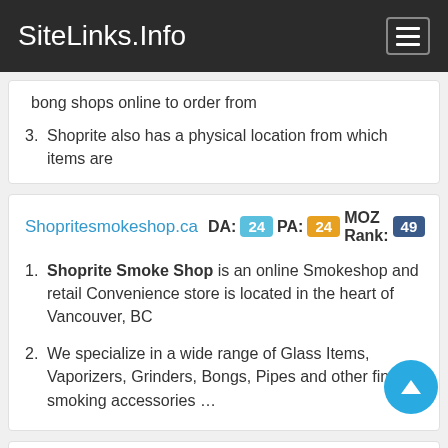SiteLinks.Info
bong shops online to order from
Shoprite also has a physical location from which items are
Shopritesmokeshop.ca   DA: 24  PA: 24  MOZ Rank: 49
Shoprite Smoke Shop is an online Smokeshop and retail Convenience store is located in the heart of Vancouver, BC
We specialize in a wide range of Glass Items, Vaporizers, Grinders, Bongs, Pipes and other fine smoking accessories …
Shopritesmokeshop.ca   DA: 24  PA: 7  MOZ Rank: 7
Shoprite Smoke Shop is an online Smokeshop and reta…